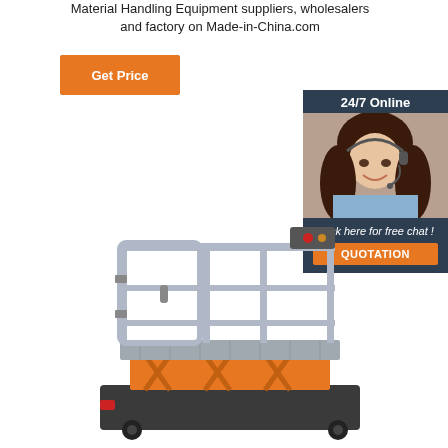Material Handling Equipment suppliers, wholesalers and factory on Made-in-China.com
[Figure (other): Orange 'Get Price' button]
[Figure (infographic): 24/7 Online chat box with a customer service representative photo, 'Click here for free chat!' text, and an orange QUOTATION button]
[Figure (photo): Industrial scissor lift platform with orange scissor mechanism and grey safety railing guard rail on wheeled base]